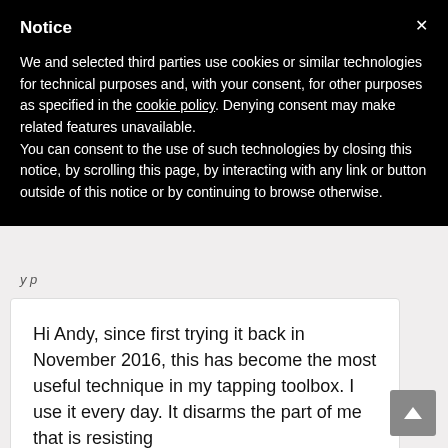Notice
We and selected third parties use cookies or similar technologies for technical purposes and, with your consent, for other purposes as specified in the cookie policy. Denying consent may make related features unavailable.
You can consent to the use of such technologies by closing this notice, by scrolling this page, by interacting with any link or button outside of this notice or by continuing to browse otherwise.
Hi Andy, since first trying it back in November 2016, this has become the most useful technique in my tapping toolbox. I use it every day. It disarms the part of me that is resisting